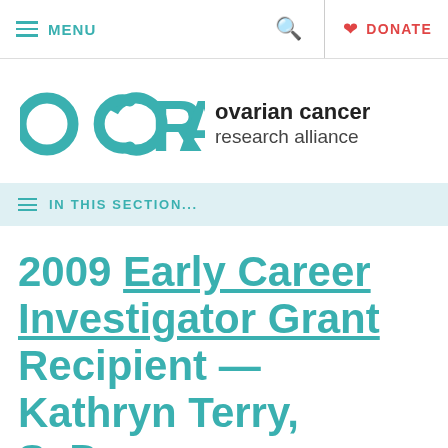MENU   [search]   DONATE
[Figure (logo): OCRA - Ovarian Cancer Research Alliance logo with teal OCRA letters and wordmark]
IN THIS SECTION...
2009 Early Career Investigator Grant Recipient — Kathryn Terry, ScD